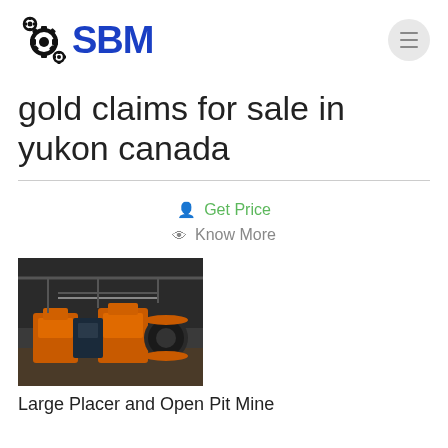SBM
gold claims for sale in yukon canada
Get Price
Know More
[Figure (photo): Industrial mining equipment including orange machinery and processing units inside a warehouse or mine facility]
Large Placer and Open Pit Mine